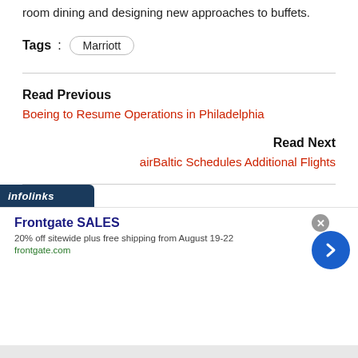room dining and designing new approaches to buffets.
Tags : Marriott
Read Previous
Boeing to Resume Operations in Philadelphia
Read Next
airBaltic Schedules Additional Flights
[Figure (screenshot): Infolinks advertisement banner showing Frontgate SALES with 20% off sitewide plus free shipping from August 19-22, frontgate.com]
Frontgate SALES
20% off sitewide plus free shipping from August 19-22
frontgate.com